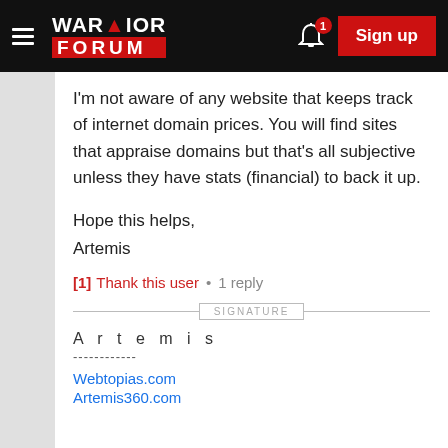Warrior Forum — Sign up
I'm not aware of any website that keeps track of internet domain prices. You will find sites that appraise domains but that's all subjective unless they have stats (financial) to back it up.
Hope this helps,
Artemis
[1] Thank this user • 1 reply
SIGNATURE
A r t e m i s
------------
Webtopias.com
Artemis360.com